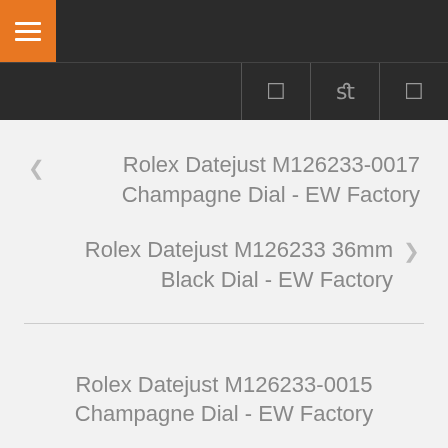Navigation menu header bar
❮ Rolex Datejust M126233-0017 Champagne Dial - EW Factory
Rolex Datejust M126233 36mm Black Dial - EW Factory ❯
Rolex Datejust M126233-0015 Champagne Dial - EW Factory